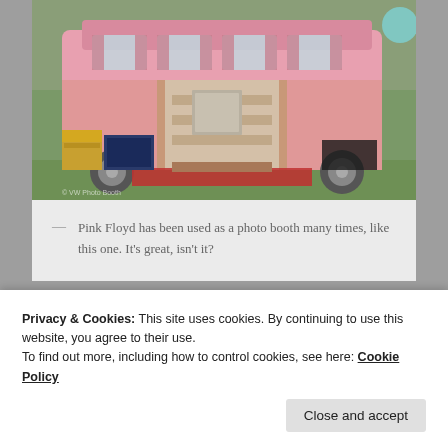[Figure (photo): Pink vintage VW bus styled as a photo booth with open back doors revealing interior shelves and decorations, red carpet on ground, items displayed outside on grass]
— Pink Floyd has been used as a photo booth many times, like this one. It’s great, isn’t it?
[Figure (photo): Partial view of a vehicle against a blue sky with street lights visible]
Privacy & Cookies: This site uses cookies. By continuing to use this website, you agree to their use.
To find out more, including how to control cookies, see here: Cookie Policy
Close and accept